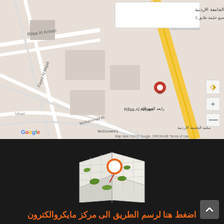[Figure (map): Google Maps screenshot showing location near University of Jordan library area, with a red pin marker on a highlighted yellow road (King Abdullah II Street). Visible street names include Rifaa Al Ansari, Fayez Al Majali, Uhud, Mohammad Al. Shows McDonald's and Arabic text for the Jordanian University Library. A popup label in Arabic reads: شارع الجامعة الاردنية / طلوع يقين مصبغ خليفة طابق 3. Map data 2016 Google, ORION-ME. Terms of Use shown at bottom right.]
[Figure (illustration): A 3D map/location icon illustration on dark background - a folded paper map with green location markers and a red/orange pin with white circle on top.]
اضغط هنا لرسم الطريق الى مركز مايكروالكترون